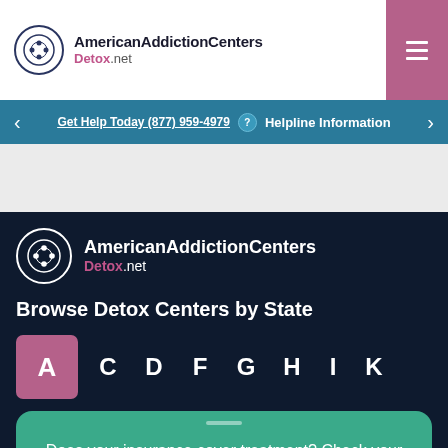[Figure (logo): American Addiction Centers Detox.net logo with circular emblem]
Get Help Today (877) 959-4979 ? Helpline Information
[Figure (logo): American Addiction Centers Detox.net dark background logo]
Browse Detox Centers by State
A C D F G H I K
Does your insurance cover treatment? Check your coverage online instantly.